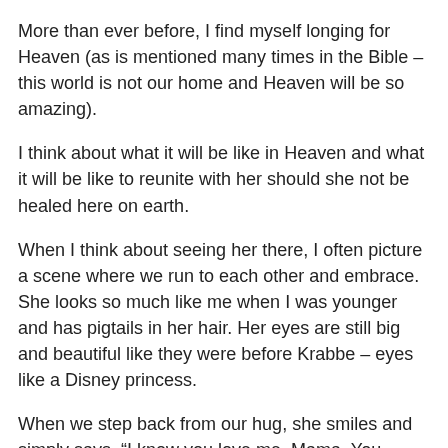More than ever before, I find myself longing for Heaven (as is mentioned many times in the Bible – this world is not our home and Heaven will be so amazing).
I think about what it will be like in Heaven and what it will be like to reunite with her should she not be healed here on earth.
When I think about seeing her there, I often picture a scene where we run to each other and embrace. She looks so much like me when I was younger and has pigtails in her hair. Her eyes are still big and beautiful like they were before Krabbe – eyes like a Disney princess.
When we step back from our hug, she smiles and simply says, “I know you love me, Mama. You always have.”